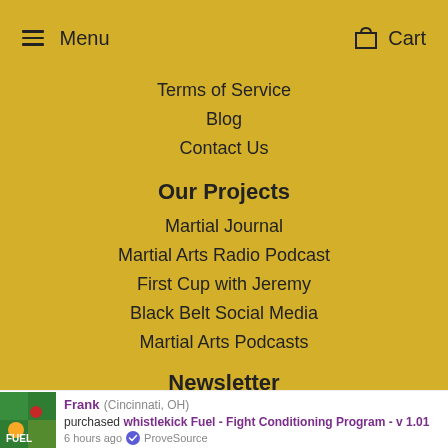Menu   Cart
Terms of Service
Blog
Contact Us
Our Projects
Martial Journal
Martial Arts Radio Podcast
First Cup with Jeremy
Black Belt Social Media
Martial Arts Podcasts
Newsletter
Frank (Cincinnati, OH) purchased whistlekick Fuel - Fight Conditioning Program - v 1.01 6 hours ago ProveSource